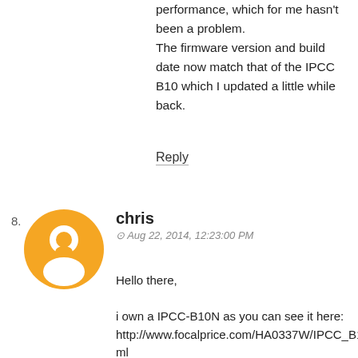performance, which for me hasn't been a problem.
The firmware version and build date now match that of the IPCC B10 which I updated a little while back.
Reply
chris
Aug 22, 2014, 12:23:00 PM
Hello there,

i own a IPCC-B10N as you can see it here: http://www.focalprice.com/HA0337W/IPCC_B10N_720P_1.0Mega_Pixel_H.264_IR_Night_Vision_P2P_ONVIF_2.2_Mini.html

The cam is pretty ok for the price as sold via eBay in Germany - at time of selling i could buy it for 48,00 EUR.

The cam works ok for me, but for me it's not ok to get one snap after the other with a gap of 10 seconds between each snap. Nevertheless i could login using root / cat1029 in...